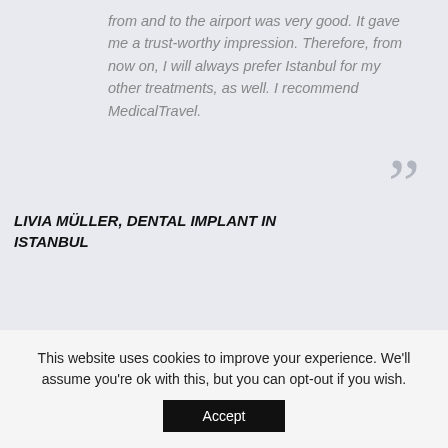from and to the airport was very good. It gave me a trust-worthy impression. Therefore, from now on, I will always prefer Istanbul for my other treatments, as well. I recommend MedicalTravel.
LIVIA MÜLLER, DENTAL IMPLANT IN ISTANBUL
This website uses cookies to improve your experience. We'll assume you're ok with this, but you can opt-out if you wish. Accept